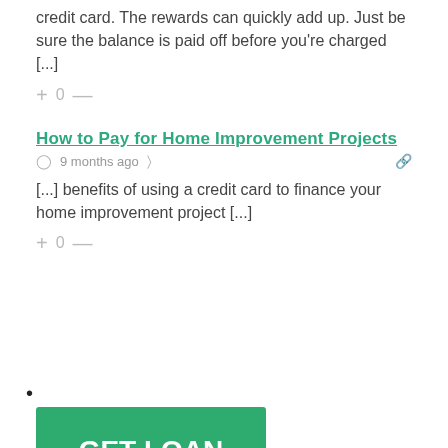credit card. The rewards can quickly add up. Just be sure the balance is paid off before you're charged [...]
+ 0 —
How to Pay for Home Improvement Projects
9 months ago
[...] benefits of using a credit card to finance your home improvement project [...]
+ 0 —
•
[Figure (other): Green button with white bold text reading GET LOAN]
•